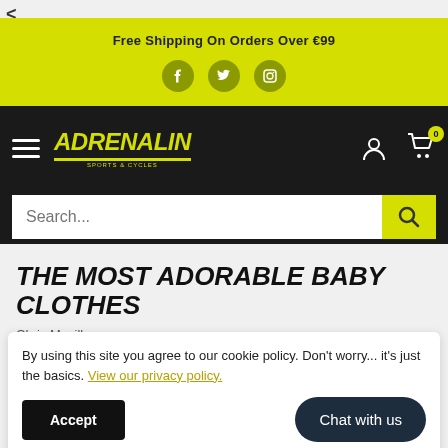<
Free Shipping On Orders Over €99
THE MOST ADORABLE BABY CLOTHES
Chris Mcgill
By using this site you agree to our cookie policy. Don't worry... it's just the basics. View our privacy policy.